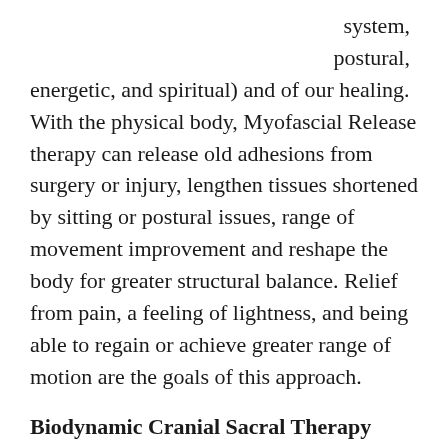system,
postural,
energetic, and spiritual) and of our healing. With the physical body, Myofascial Release therapy can release old adhesions from surgery or injury, lengthen tissues shortened by sitting or postural issues, range of movement improvement and reshape the body for greater structural balance. Relief from pain, a feeling of lightness, and being able to regain or achieve greater range of motion are the goals of this approach.
Biodynamic Cranial Sacral Therapy works very gently with the structures of the central nervous system and the energetic flows within